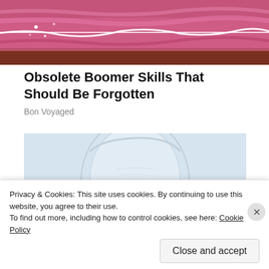[Figure (photo): Partial view of a pink/magenta textured image at the top of the page, cropped]
Obsolete Boomer Skills That Should Be Forgotten
Bon Voyaged
[Figure (illustration): Light blue background illustration showing a faded outline/line drawing of an elderly person's face and head]
Privacy & Cookies: This site uses cookies. By continuing to use this website, you agree to their use. To find out more, including how to control cookies, see here: Cookie Policy
Close and accept